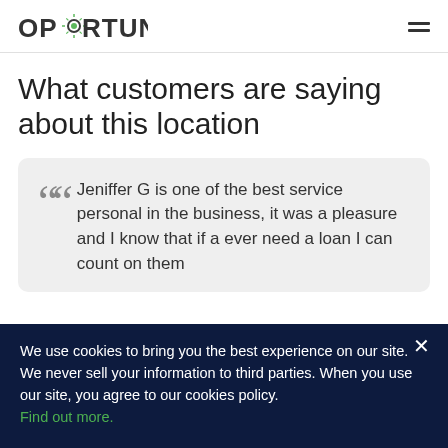OPORTUN
What customers are saying about this location
Jeniffer G is one of the best service personal in the business, it was a pleasure and I know that if a ever need a loan I can count on them
We use cookies to bring you the best experience on our site. We never sell your information to third parties. When you use our site, you agree to our cookies policy. Find out more.